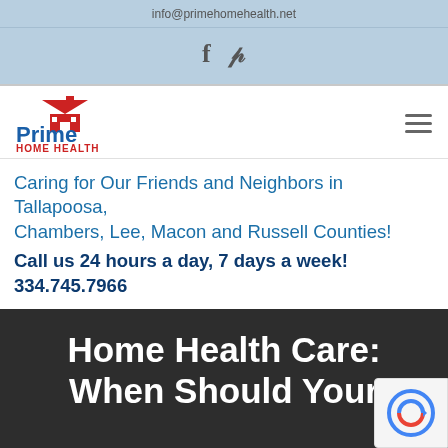info@primehomehealth.net
[Figure (other): Social media icons bar with Facebook (f) and Pinterest (p) icons on light blue background]
[Figure (logo): Prime Home Health logo with house icon, 'Prime' in blue text, 'HOME HEALTH' in red text below]
Caring for Our Friends and Neighbors in Tallapoosa, Chambers, Lee, Macon and Russell Counties! Call us 24 hours a day, 7 days a week! 334.745.7966
Home Health Care: When Should You...